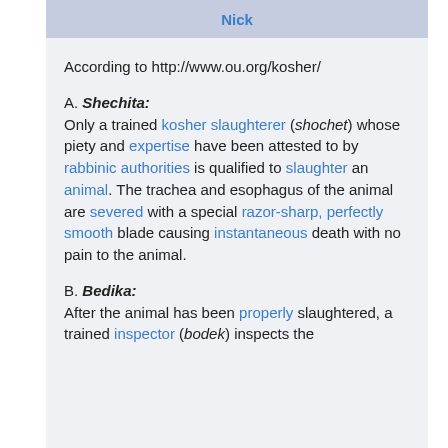Nick
According to http://www.ou.org/kosher/
A. Shechita: Only a trained kosher slaughterer (shochet) whose piety and expertise have been attested to by rabbinic authorities is qualified to slaughter an animal. The trachea and esophagus of the animal are severed with a special razor-sharp, perfectly smooth blade causing instantaneous death with no pain to the animal.
B. Bedika: After the animal has been properly slaughtered, a trained inspector (bodek) inspects the